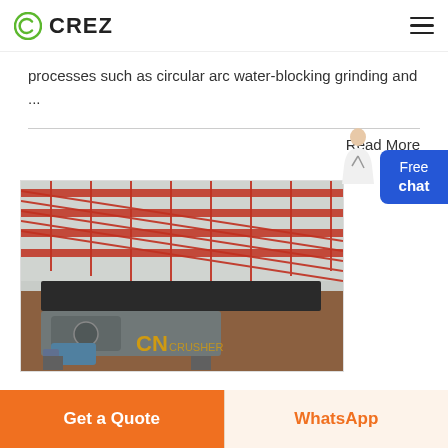CREZ
processes such as circular arc water-blocking grinding and ...
Read More
[Figure (photo): Industrial machinery photo showing a vibrating table or shaker machine with a grey base, motor, and red metal truss structure in the background inside a factory yard. CN CRUSHER watermark visible.]
Get a Quote | WhatsApp